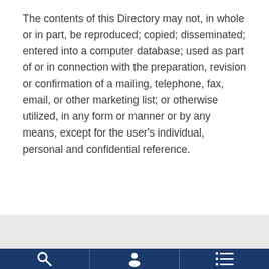The contents of this Directory may not, in whole or in part, be reproduced; copied; disseminated; entered into a computer database; used as part of or in connection with the preparation, revision or confirmation of a mailing, telephone, fax, email, or other marketing list; or otherwise utilized, in any form or manner or by any means, except for the user's individual, personal and confidential reference.
[Figure (other): Mobile app navigation bar with three icons: search (magnifying glass), person/profile, and list/menu, on a dark navy blue background]